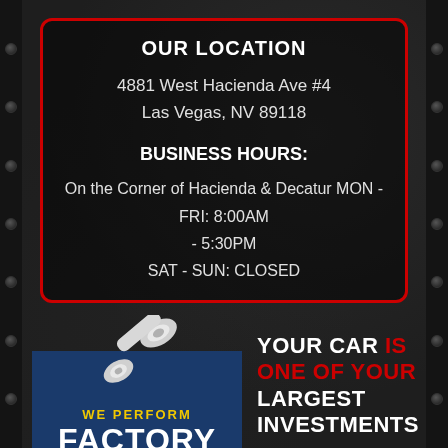OUR LOCATION
4881 West Hacienda Ave #4
Las Vegas, NV 89118
BUSINESS HOURS:
On the Corner of Hacienda & Decatur MON - FRI: 8:00AM - 5:30PM
SAT - SUN: CLOSED
[Figure (logo): Wrench icon above a dark blue box with text WE PERFORM in yellow and FACTORY in white bold, auto repair shop logo]
YOUR CAR IS ONE OF YOUR LARGEST INVESTMENTS